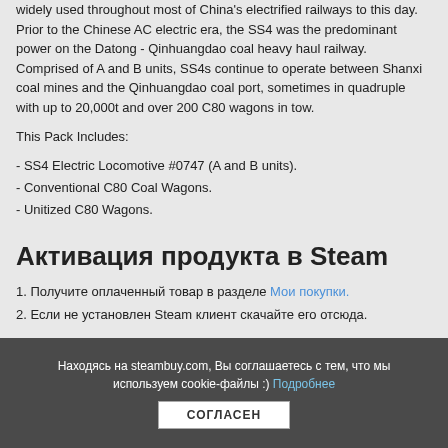widely used throughout most of China's electrified railways to this day. Prior to the Chinese AC electric era, the SS4 was the predominant power on the Datong - Qinhuangdao coal heavy haul railway. Comprised of A and B units, SS4s continue to operate between Shanxi coal mines and the Qinhuangdao coal port, sometimes in quadruple with up to 20,000t and over 200 C80 wagons in tow.
This Pack Includes:
- SS4 Electric Locomotive #0747 (A and B units).
- Conventional C80 Coal Wagons.
- Unitized C80 Wagons.
Активация продукта в Steam
1. Получите оплаченный товар в разделе Мои покупки.
2. Если не установлен Steam клиент скачайте его отсюда.
Находясь на steambuy.com, Вы соглашаетесь с тем, что мы используем cookie-файлы :) Подробнее
СОГЛАСЕН